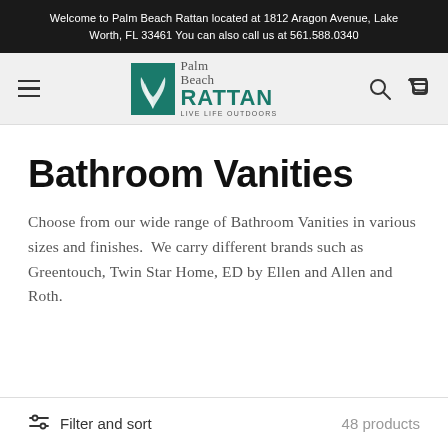Welcome to Palm Beach Rattan located at 1812 Aragon Avenue, Lake Worth, FL 33461 You can also call us at 561.588.0340
[Figure (logo): Palm Beach Rattan logo with palm leaf icon and text RATTAN LIVE LIFE OUTDOORS]
Bathroom Vanities
Choose from our wide range of Bathroom Vanities in various sizes and finishes. We carry different brands such as Greentouch, Twin Star Home, ED by Ellen and Allen and Roth.
Filter and sort
48 products